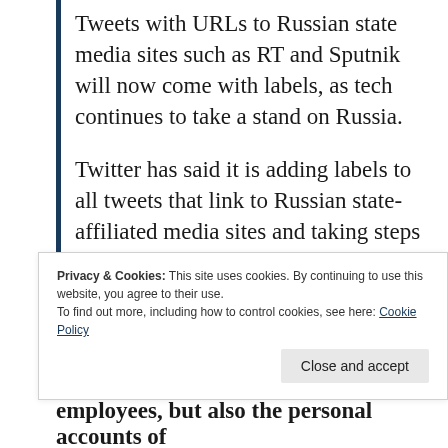Tweets with URLs to Russian state media sites such as RT and Sputnik will now come with labels, as tech continues to take a stand on Russia.
Twitter has said it is adding labels to all tweets that link to Russian state-affiliated media sites and taking steps to curb their reach to prevent the spread of misinformation surrounding Russia’s invasion of Ukraine.
Privacy & Cookies: This site uses cookies. By continuing to use this website, you agree to their use.
To find out more, including how to control cookies, see here: Cookie Policy
employees, but also the personal accounts of